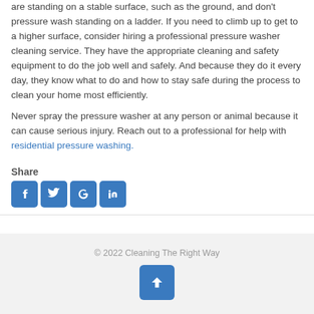are standing on a stable surface, such as the ground, and don't pressure wash standing on a ladder. If you need to climb up to get to a higher surface, consider hiring a professional pressure washer cleaning service. They have the appropriate cleaning and safety equipment to do the job well and safely. And because they do it every day, they know what to do and how to stay safe during the process to clean your home most efficiently.
Never spray the pressure washer at any person or animal because it can cause serious injury. Reach out to a professional for help with residential pressure washing.
Share
[Figure (infographic): Social media share buttons: Facebook, Twitter, Google+, LinkedIn]
© 2022 Cleaning The Right Way